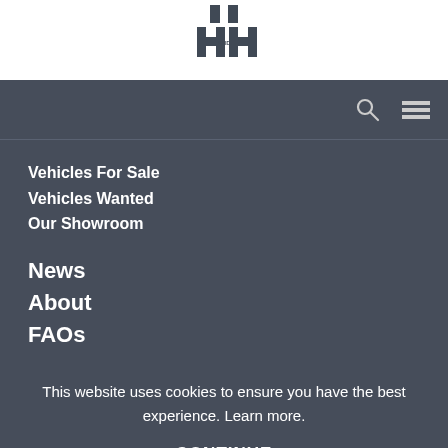[Figure (logo): H AND H logo mark with stylized H H letters and small AND text]
[Figure (other): Navigation bar with search icon and hamburger menu icon]
Vehicles For Sale
Vehicles Wanted
Our Showroom
News
About
FAOs
This website uses cookies to ensure you have the best experience. Learn more.
CONTINUE